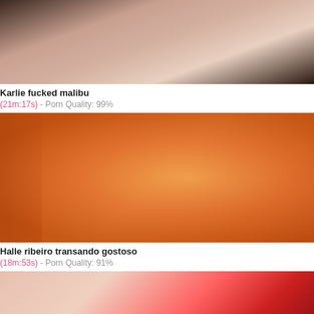[Figure (photo): Thumbnail image - partial view, dark and skin tones]
Karlie fucked malibu
(21m:17s) - Porn Quality: 99%
[Figure (photo): Thumbnail image - orange warm skin tones video still]
Halle ribeiro transando gostoso
(18m:53s) - Porn Quality: 91%
[Figure (photo): Partial thumbnail at bottom - red outfit, curlers]